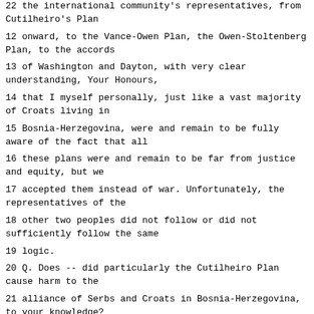22 the international community's representatives, from Cutilheiro's Plan
12 onward, to the Vance-Owen Plan, the Owen-Stoltenberg Plan, to the accords
13 of Washington and Dayton, with very clear understanding, Your Honours,
14 that I myself personally, just like a vast majority of Croats living in
15 Bosnia-Herzegovina, were and remain to be fully aware of the fact that all
16 these plans were and remain to be far from justice and equity, but we
17 accepted them instead of war. Unfortunately, the representatives of the
18 other two peoples did not follow or did not sufficiently follow the same
19 logic.
20 Q. Does -- did particularly the Cutilheiro Plan cause harm to the
21 alliance of Serbs and Croats in Bosnia-Herzegovina, to your knowledge?